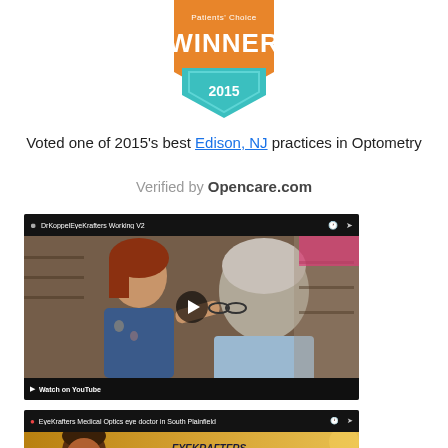[Figure (logo): Patients' Choice Winner 2015 badge — orange shield with teal chevron bottom and text WINNER 2015]
Voted one of 2015's best Edison, NJ practices in Optometry
Verified by Opencare.com
[Figure (screenshot): YouTube video thumbnail showing optometrist helping customer try on glasses in an eyewear store. Video title: DrKoppelEyeKrafters Working V2. Watch on YouTube bar at bottom.]
[Figure (screenshot): YouTube video thumbnail showing a man in glasses in front of EyeKrafters Medical Optics branding. Video title: EyeKrafters Medical Optics eye doctor in South Plainfield.]